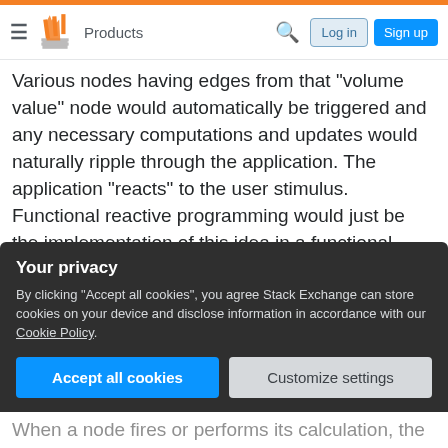≡ [Stack Overflow logo] Products 🔍 Log in Sign up
Various nodes having edges from that "volume value" node would automatically be triggered and any necessary computations and updates would naturally ripple through the application. The application "reacts" to the user stimulus. Functional reactive programming would just be the implementation of this idea in a functional language, or generally within a functional programming paradigm.
For more on "dataflow computing", search for those two words on Wikipedia or using your favorite search
Your privacy
By clicking "Accept all cookies", you agree Stack Exchange can store cookies on your device and disclose information in accordance with our Cookie Policy.
Accept all cookies   Customize settings
When a node fires or performs its calculation, the